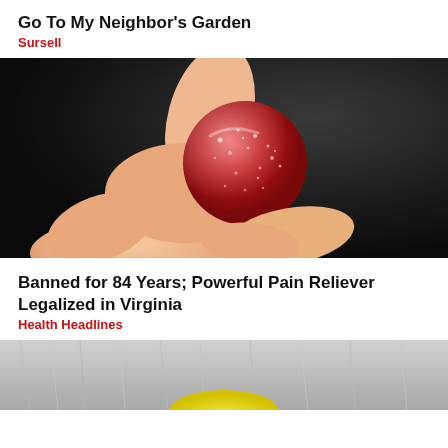Go To My Neighbor's Garden
Sursell
[Figure (photo): A hand holding a red sugar-coated gummy candy ball against a dark background]
Banned for 84 Years; Powerful Pain Reliever Legalized in Virginia
Health Headlines
[Figure (photo): Partial photo showing gray/blonde hair and a yellow object, cropped at bottom of page]